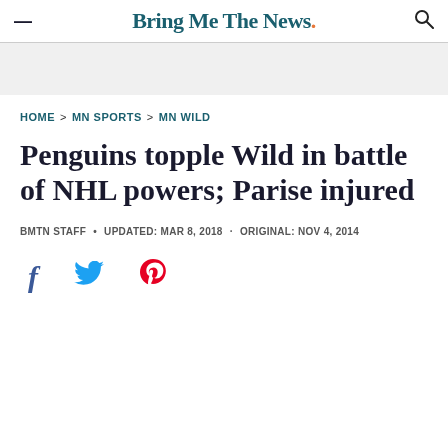Bring Me The News.
HOME > MN SPORTS > MN WILD
Penguins topple Wild in battle of NHL powers; Parise injured
BMTN STAFF • UPDATED: MAR 8, 2018 · ORIGINAL: NOV 4, 2014
[Figure (other): Social media share icons: Facebook, Twitter, Pinterest]